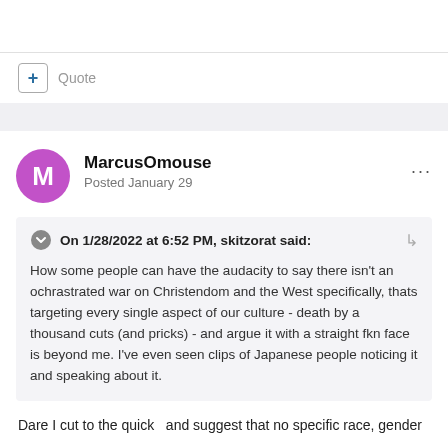Quote
MarcusOmouse
Posted January 29
On 1/28/2022 at 6:52 PM, skitzorat said:
How some people can have the audacity to say there isn't an ochrastrated war on Christendom and the West specifically, thats targeting every single aspect of our culture - death by a thousand cuts (and pricks) - and argue it with a straight fkn face is beyond me. I've even seen clips of Japanese people noticing it and speaking about it.
Dare I cut to the quick  and suggest that no specific race, gender